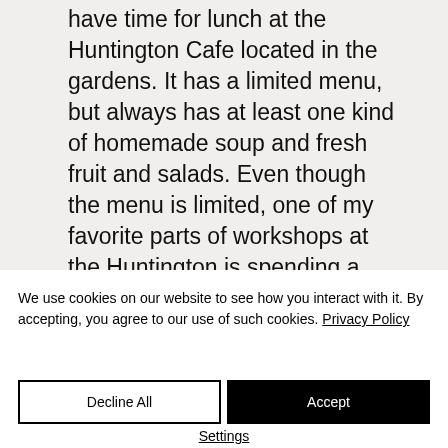have time for lunch at the Huntington Cafe located in the gardens. It has a limited menu, but always has at least one kind of homemade soup and fresh fruit and salads. Even though the menu is limited, one of my favorite parts of workshops at the Huntington is spending a pleasant lunchtime in the shady, outdoor dining area and having time for chats with the other
We use cookies on our website to see how you interact with it. By accepting, you agree to our use of such cookies. Privacy Policy
Decline All
Accept
Settings